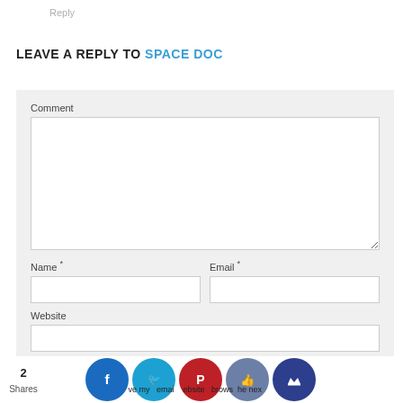Reply
LEAVE A REPLY TO SPACE DOC
[Figure (screenshot): Web comment form with fields for Comment (large textarea), Name (required), Email (required), Website, and a checkbox row. Background is light gray. Below is a social sharing bar with Facebook, Twitter, Pinterest, Like, and Crown icon buttons, and a shares counter showing 2 Shares.]